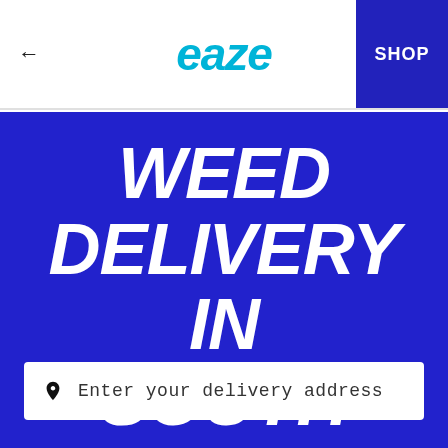← eaze SHOP
WEED DELIVERY IN SOUTH PASADENA
Enter your delivery address